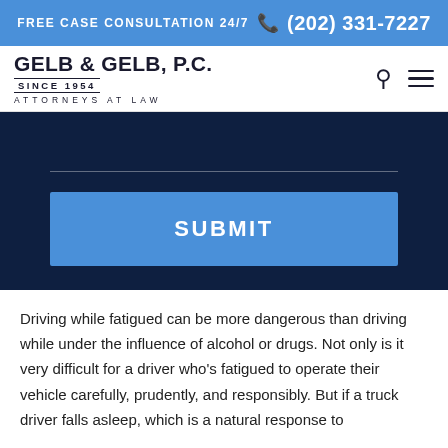FREE CASE CONSULTATION 24/7 (202) 331-7227
GELB & GELB, P.C. SINCE 1954 ATTORNEYS AT LAW
[Figure (screenshot): Dark navy contact form section with a horizontal line input field and a blue SUBMIT button]
Driving while fatigued can be more dangerous than driving while under the influence of alcohol or drugs. Not only is it very difficult for a driver who's fatigued to operate their vehicle carefully, prudently, and responsibly. But if a truck driver falls asleep, which is a natural response to